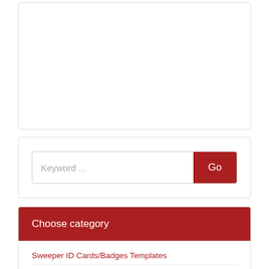[Figure (other): Empty white box with rounded corners and border — placeholder/ad region]
Keyword ...
Go
Choose category
Sweeper ID Cards/Badges Templates
Personal Bodyguard ID Badges